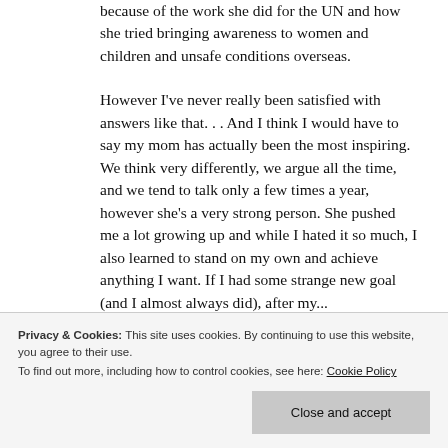because of the work she did for the UN and how she tried bringing awareness to women and children and unsafe conditions overseas.
However I've never really been satisfied with answers like that. . . And I think I would have to say my mom has actually been the most inspiring. We think very differently, we argue all the time, and we tend to talk only a few times a year, however she's a very strong person. She pushed me a lot growing up and while I hated it so much, I also learned to stand on my own and achieve anything I want. If I had some strange new goal (and I almost always did), after my...
(including my ungrateful self ;-)) and still come
Privacy & Cookies: This site uses cookies. By continuing to use this website, you agree to their use.
To find out more, including how to control cookies, see here: Cookie Policy